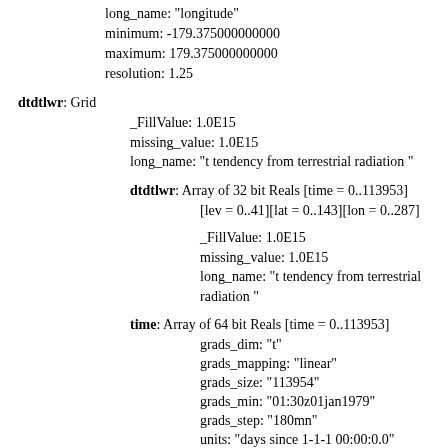long_name: "longitude"
minimum: -179.375000000000
maximum: 179.375000000000
resolution: 1.25
dtdtlwr: Grid
_FillValue: 1.0E15
missing_value: 1.0E15
long_name: "t tendency from terrestrial radiation "
dtdtlwr: Array of 32 bit Reals [time = 0..113953][lev = 0..41][lat = 0..143][lon = 0..287]
_FillValue: 1.0E15
missing_value: 1.0E15
long_name: "t tendency from terrestrial radiation "
time: Array of 64 bit Reals [time = 0..113953]
grads_dim: "t"
grads_mapping: "linear"
grads_size: "113954"
grads_min: "01:30z01jan1979"
grads_step: "180mn"
units: "days since 1-1-1 00:00:0.0"
long_name: "time"
minimum: "01:30z01jan1979"
maximum: "04:30z31dec2017"